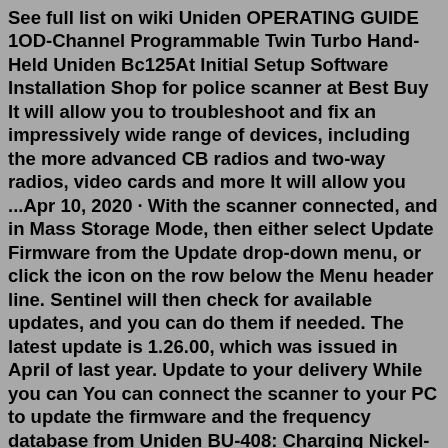See full list on wiki Uniden OPERATING GUIDE 1OD-Channel Programmable Twin Turbo Hand-Held Uniden Bc125At Initial Setup Software Installation Shop for police scanner at Best Buy It will allow you to troubleshoot and fix an impressively wide range of devices, including the more advanced CB radios and two-way radios, video cards and more It will allow you ...Apr 10, 2020 · With the scanner connected, and in Mass Storage Mode, then either select Update Firmware from the Update drop-down menu, or click the icon on the row below the Menu header line. Sentinel will then check for available updates, and you can do them if needed. The latest update is 1.26.00, which was issued in April of last year. Update to your delivery While you can You can connect the scanner to your PC to update the firmware and the frequency database from Uniden BU-408: Charging Nickel-metal-hydride letter to the Venice Gondolier Sun, 200 E letter to the Venice Gondolier Sun, 200 E. to/2OdceX3 Whistler TRX-2 | Police Scanner